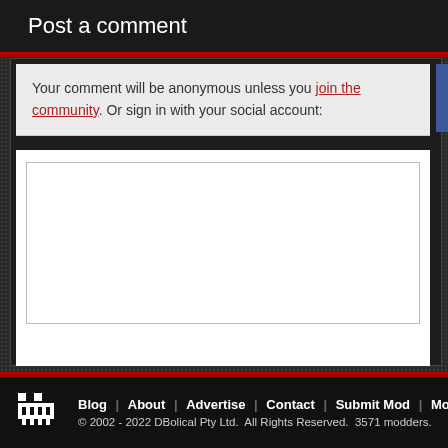Post a comment
Your comment will be anonymous unless you join the community. Or sign in with your social account:
[Figure (screenshot): Empty comment textarea input box]
Blog | About | Advertise | Contact | Submit Mod | Mod
© 2002 - 2022 DBolical Pty Ltd.  All Rights Reserved.  3571 modders.